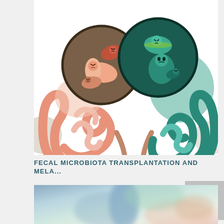[Figure (illustration): Medical illustration showing fecal microbiota transplantation concept. Left side: peach/salmon-colored intestines with cartoon bacteria (angry-looking, peach/brown tones) in a dark brown circle. Right side: teal/green-colored intestines with cartoon bacteria (stern-looking, teal/dark green tones) in a dark green circle. A connecting tube links the two intestinal systems in the center. Background has tan/beige and pink-gray circular blobs on the sides.]
FECAL MICROBIOTA TRANSPLANTATION AND MELA...
[Figure (photo): Blurred photograph of a medical or clinical setting, showing what appears to be a person in blue clothing (possibly medical professional or patient) with blurred background in green and peach/skin tones. Photo is heavily blurred/out of focus.]